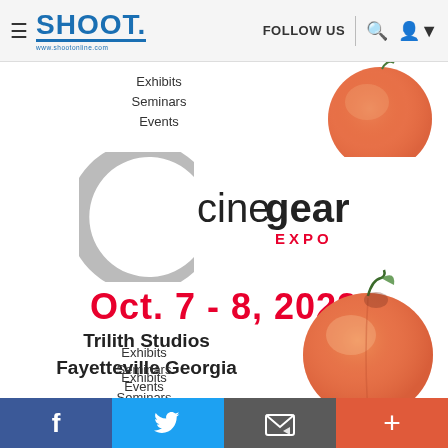SHOOT | FOLLOW US | [search] [user]
Exhibits
Seminars
Events
[Figure (logo): Cinegear Expo logo with large grey C shape and 'cinegear EXPO' text]
Oct. 7 - 8, 2022
Trilith Studios
Fayetteville Georgia
Exhibits
Seminars
Events
[Figure (photo): Two peach fruits on white background — one partially visible at top right, one fully visible at bottom right]
Social bar: Facebook | Twitter | Email/Newsletter | Plus